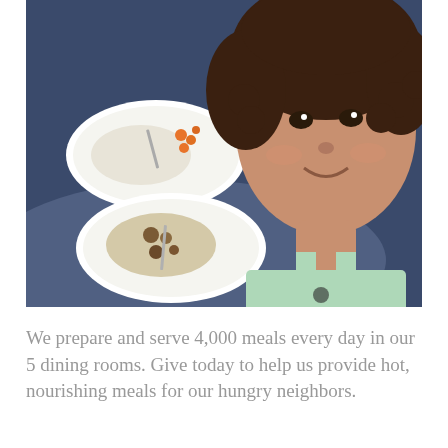[Figure (photo): A young child with curly hair smiling at the camera, seated near a table with plates of food (rice, vegetables, and other items). The child is wearing a light green tank top.]
We prepare and serve 4,000 meals every day in our 5 dining rooms. Give today to help us provide hot, nourishing meals for our hungry neighbors.
Donate Now
Visit